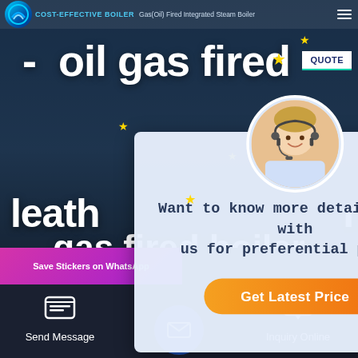COST-EFFECTIVE BOILER Gas(Oil) Fired Integrated Steam Boiler
- oil gas fired
[Figure (screenshot): Chat popup modal overlay on a boiler company website with a customer service agent avatar, text 'Want to know more details? Chat with us for preferential price!' and a 'Get Latest Price' orange button]
Want to know more details? Chat with us for preferential price!
Get Latest Price
leather - oil gas fired boiler
Save Stickers on WhatsApp
Send Message
Inquiry Online